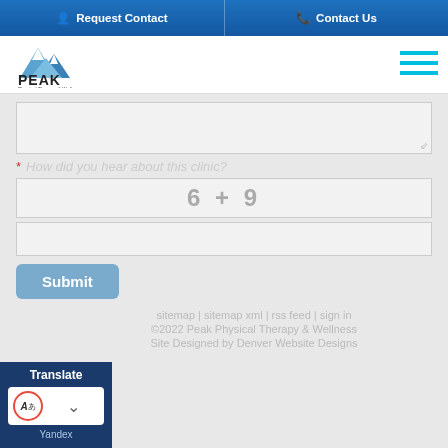Request Contact | Contact Us
[Figure (logo): Peak Physical Therapy & Wellness logo with mountain peaks graphic]
[Figure (other): Hamburger menu icon with three cyan horizontal lines]
* [placeholder text for field - illegible]
6 + 9
Submit
sitemap | sitemap xml | rss feed | sign in
©2022 Peak Physical Therapy & Wellness
Site Designed by Denver Website Designs
Translate
Yandex